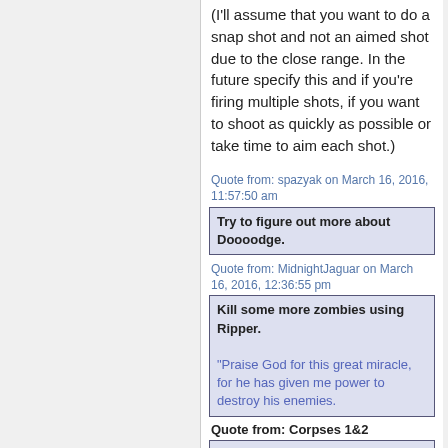(I'll assume that you want to do a snap shot and not an aimed shot due to the close range. In the future specify this and if you're firing multiple shots, if you want to shoot as quickly as possible or take time to aim each shot.)
Quote from: spazyak on March 16, 2016, 11:57:50 am
Try to figure out more about Doooodge.
Quote from: MidnightJaguar on March 16, 2016, 12:36:55 pm
Kill some more zombies using Ripper.

"Praise God for this great miracle, for he has given me power to destroy his enemies.
Quote from: Corpses 1&2
Tackle the knight!
Quote from: Corpse 3
Pursue the plastic one!
Quote from: Corpses 4&5
Spontaneously collapse due to overburdened connection.
TU+6:
Oliver Cromwell takes aim at the melee in the center of the room,